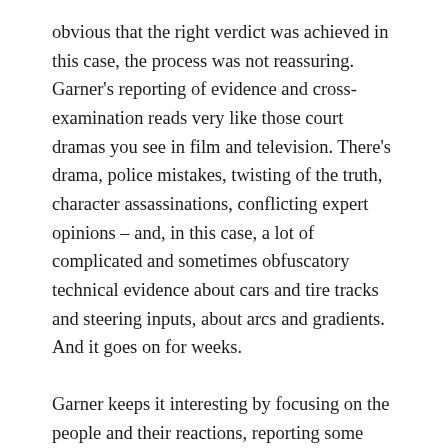obvious that the right verdict was achieved in this case, the process was not reassuring. Garner's reporting of evidence and cross-examination reads very like those court dramas you see in film and television. There's drama, police mistakes, twisting of the truth, character assassinations, conflicting expert opinions – and, in this case, a lot of complicated and sometimes obfuscatory technical evidence about cars and tire tracks and steering inputs, about arcs and gradients. And it goes on for weeks.
Garner keeps it interesting by focusing on the people and their reactions, reporting some dialogue, and summarising the critical (which, she makes clear, is not always the most relevant) points of evidence. Her descriptions of the defence and prosecution team are drawn with a novelist's eye for character. Sometimes